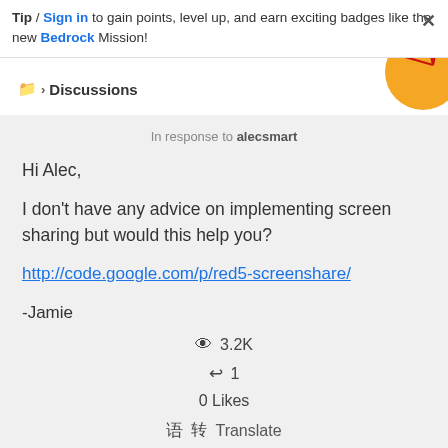Tip / Sign in to gain points, level up, and earn exciting badges like the new Bedrock Mission!
[Figure (illustration): Decorative geometric red lines on orange circle background in top right corner]
Discussions
In response to alecsmart
Hi Alec,

I don't have any advice on implementing screen sharing but would this help you?

http://code.google.com/p/red5-screenshare/

-Jamie
3.2K
1
0 Likes
Translate